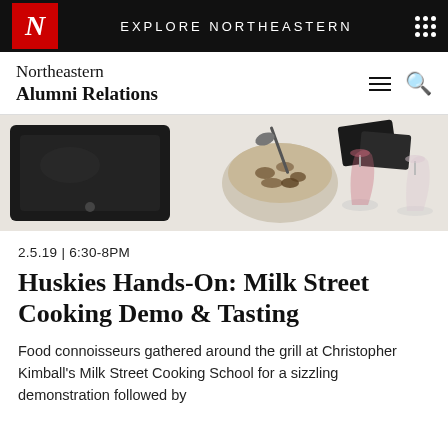EXPLORE NORTHEASTERN
[Figure (logo): Northeastern University N logo in red box]
Northeastern Alumni Relations
[Figure (photo): Photo of cooking station with induction cooktop, bowl of nuts, wine glasses on a white counter]
2.5.19 | 6:30-8PM
Huskies Hands-On: Milk Street Cooking Demo & Tasting
Food connoisseurs gathered around the grill at Christopher Kimball's Milk Street Cooking School for a sizzling demonstration followed by